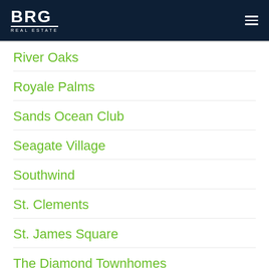BRG REAL ESTATE
River Oaks
Royale Palms
Sands Ocean Club
Seagate Village
Southwind
St. Clements
St. James Square
The Diamond Townhomes
The Palace